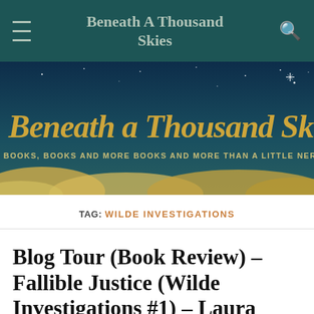Beneath A Thousand Skies
[Figure (illustration): Banner image with dark teal night sky, crescent moon, golden cursive text 'Beneath A Thousand Skies', subtitle 'BOOKS, BOOKS AND MORE BOOKS AND MORE THAN A LITTLE NERDERY', and golden clouds at the bottom.]
TAG: WILDE INVESTIGATIONS
Blog Tour (Book Review) – Fallible Justice (Wilde Investigations #1) – Laura